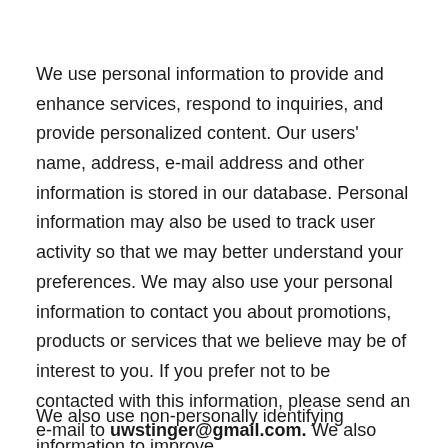We use personal information to provide and enhance services, respond to inquiries, and provide personalized content. Our users' name, address, e-mail address and other information is stored in our database. Personal information may also be used to track user activity so that we may better understand your preferences. We may also use your personal information to contact you about promotions, products or services that we believe may be of interest to you. If you prefer not to be contacted with this information, please send an e-mail to uwstinger@gmail.com. We also store financial information in our database and we may use such financial information to bill you for future membership fees and/or services in accordance with the Terms of Use.
We also use non-personally identifying information to improve